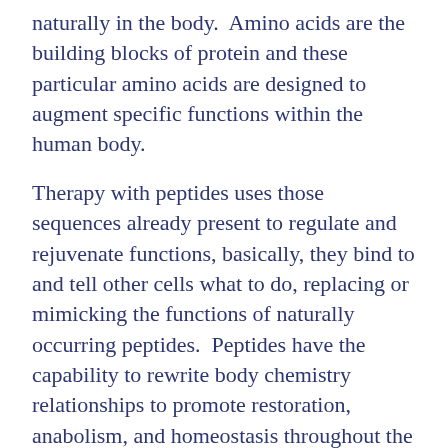naturally in the body.  Amino acids are the building blocks of protein and these particular amino acids are designed to augment specific functions within the human body.
Therapy with peptides uses those sequences already present to regulate and rejuvenate functions, basically, they bind to and tell other cells what to do, replacing or mimicking the functions of naturally occurring peptides.  Peptides have the capability to rewrite body chemistry relationships to promote restoration, anabolism, and homeostasis throughout the body.
BPC-157, Ipamorelin, and Sermorelin are the three most common that I will